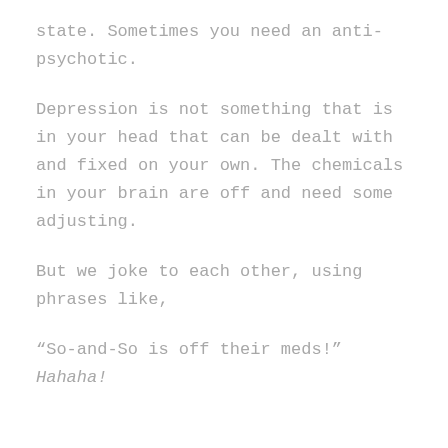state. Sometimes you need an anti-psychotic.
Depression is not something that is in your head that can be dealt with and fixed on your own. The chemicals in your brain are off and need some adjusting.
But we joke to each other, using phrases like,
“So-and-So is off their meds!” Hahaha!